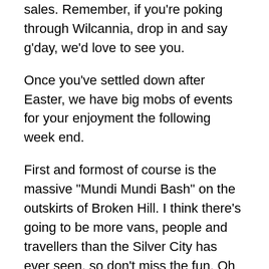sales. Remember, if you're poking through Wilcannia, drop in and say g'day, we'd love to see you.
Once you've settled down after Easter, we have big mobs of events for your enjoyment the following week end.
First and formost of course is the massive "Mundi Mundi Bash" on the outskirts of Broken Hill. I think there's going to be more vans, people and travellers than the Silver City has ever seen, so don't miss the fun. Oh by the way that is the 21-22 and 23rd. If you haven't booked for it, don't panic, just duck out to White Cliffs for their Gymkhana and Rodeo on the 22/23 and 24th. And rest assured you will be looked after out at 'the Cliffs'